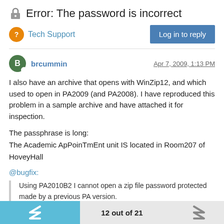Error: The password is incorrect
Tech Support
brcummin   Apr 7, 2009, 1:13 PM
I also have an archive that opens with WinZip12, and which used to open in PA2009 (and PA2008). I have reproduced this problem in a sample archive and have attached it for inspection.
The passphrase is long:
The Academic ApPoinTmEnt unit IS located in Room207 of HoveyHall
@bugfix:
Using PA2010B2 I cannot open a zip file password protected made by a previous PA version.
The file opens regulary with PA2009.
Everytime I try to enter password the same error: incorrect password
12 out of 21